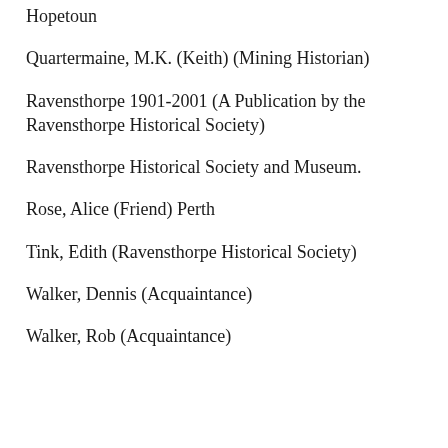Hopetoun
Quartermaine, M.K. (Keith) (Mining Historian)
Ravensthorpe 1901-2001 (A Publication by the Ravensthorpe Historical Society)
Ravensthorpe Historical Society and Museum.
Rose, Alice (Friend) Perth
Tink, Edith (Ravensthorpe Historical Society)
Walker, Dennis (Acquaintance)
Walker, Rob (Acquaintance)